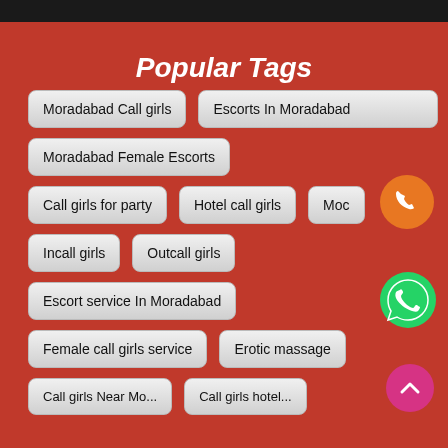Popular Tags
Moradabad Call girls
Escorts In Moradabad
Moradabad Female Escorts
Call girls for party
Hotel call girls
Moc
Incall girls
Outcall girls
Escort service In Moradabad
Female call girls service
Erotic massage